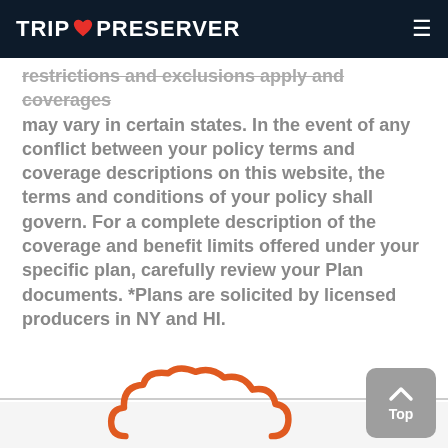TRIP PRESERVER
restrictions and exclusions apply and coverages may vary in certain states. In the event of any conflict between your policy terms and coverage descriptions on this website, the terms and conditions of your policy shall govern. For a complete description of the coverage and benefit limits offered under your specific plan, carefully review your Plan documents. *Plans are solicited by licensed producers in NY and HI.
[Figure (illustration): Partial orange cloud outline/logo at bottom center of page]
[Figure (other): Gray 'Top' scroll-to-top button with upward chevron arrow, bottom right corner]